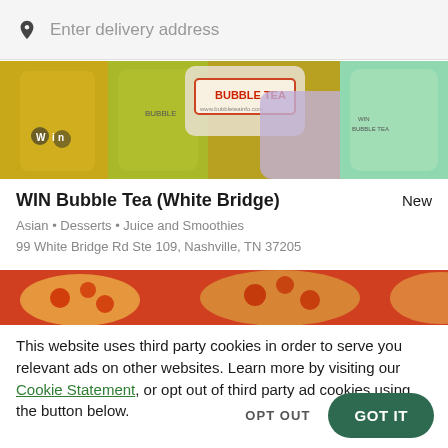Enter delivery address
[Figure (photo): Photo of WIN Bubble Tea drinks — various colorful bubble tea cups with lid labels reading BUBBLE TEA, WIN BUBBLE TEA]
WIN Bubble Tea (White Bridge)
New
Asian • Desserts • Juice and Smoothies
99 White Bridge Rd Ste 109, Nashville, TN 37205
[Figure (photo): Photo of pizza with pepperoni and toppings]
This website uses third party cookies in order to serve you relevant ads on other websites. Learn more by visiting our Cookie Statement, or opt out of third party ad cookies using the button below.
OPT OUT
GOT IT